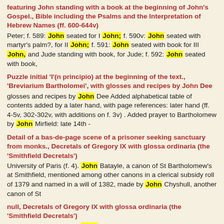featuring John standing with a book at the beginning of John's Gospel., Bible including the Psalms and the Interpretation of Hebrew Names (ff. 600-644v)
Peter; f. 589: John seated for I John; f. 590v: John seated with martyr's palm?, for II John; f. 591: John seated with book for III John, and Jude standing with book, for Jude; f. 592: John seated with book,
Puzzle initial 'I'(n principio) at the beginning of the text., 'Breviarium Bartholomei', with glosses and recipes by John Dee
glosses and recipes by John Dee Added alphabetical table of contents added by a later hand, with page references: later hand (ff. 4-5v, 302-302v, with additions on f. 3v) . Added prayer to Bartholomew by John Mirfield: late 14th -
Detail of a bas-de-page scene of a prisoner seeking sanctuary from monks., Decretals of Gregory IX with glossa ordinaria (the 'Smithfield Decretals')
University of Paris (f. 4). John Batayle, a canon of St Bartholomew's at Smithfield, mentioned among other canons in a clerical subsidy roll of 1379 and named in a will of 1382, made by John Chyshull, another canon of St
null, Decretals of Gregory IX with glossa ordinaria (the 'Smithfield Decretals')
University of Paris (f. 4). John Batayle, a canon of St Bartholomew's at Smithfield, mentioned among other canons in a clerical subsidy roll of 1379 and named in a will of 1382, made by John Chyshull, another canon of St
Inhabited initial 'B'(eatissimo), with animals and grotesques, at